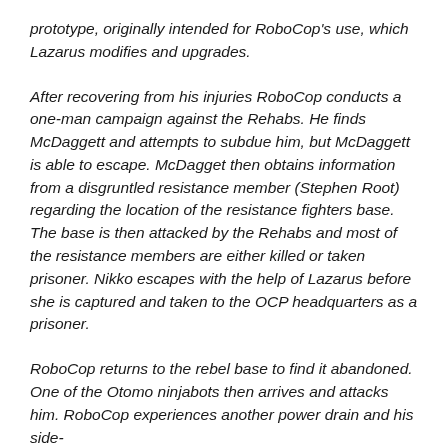prototype, originally intended for RoboCop's use, which Lazarus modifies and upgrades.
After recovering from his injuries RoboCop conducts a one-man campaign against the Rehabs. He finds McDaggett and attempts to subdue him, but McDaggett is able to escape. McDagget then obtains information from a disgruntled resistance member (Stephen Root) regarding the location of the resistance fighters base. The base is then attacked by the Rehabs and most of the resistance members are either killed or taken prisoner. Nikko escapes with the help of Lazarus before she is captured and taken to the OCP headquarters as a prisoner.
RoboCop returns to the rebel base to find it abandoned. One of the Otomo ninjabots then arrives and attacks him. RoboCop experiences another power drain and his side-